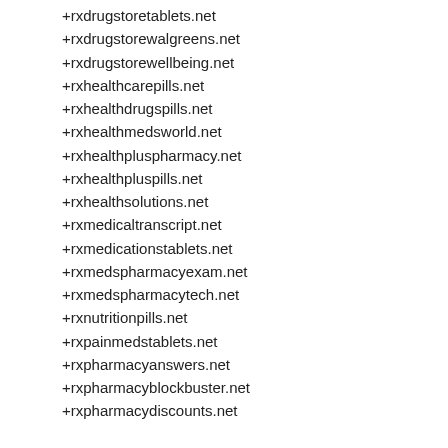+rxdrugstoretablets.net
+rxdrugstorewalgreens.net
+rxdrugstorewellbeing.net
+rxhealthcarepills.net
+rxhealthdrugspills.net
+rxhealthmedsworld.net
+rxhealthpluspharmacy.net
+rxhealthpluspills.net
+rxhealthsolutions.net
+rxmedicaltranscript.net
+rxmedicationstablets.net
+rxmedspharmacyexam.net
+rxmedspharmacytech.net
+rxnutritionpills.net
+rxpainmedstablets.net
+rxpharmacyanswers.net
+rxpharmacyblockbuster.net
+rxpharmacydiscounts.net